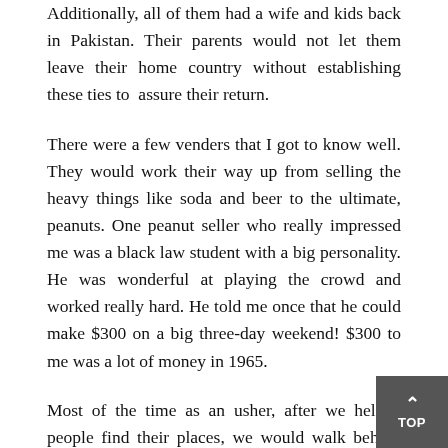Additionally, all of them had a wife and kids back in Pakistan. Their parents would not let them leave their home country without establishing these ties to assure their return.
There were a few venders that I got to know well. They would work their way up from selling the heavy things like soda and beer to the ultimate, peanuts. One peanut seller who really impressed me was a black law student with a big personality. He was wonderful at playing the crowd and worked really hard. He told me once that he could make $300 on a big three-day weekend! $300 to me was a lot of money in 1965.
Most of the time as an usher, after we helped people find their places, we would walk behind the last row of seats and ask people to “please stand behind the yellow line”. This painted line was about a yard back behind those seats and the reason we were required to do that was so that the seated patron would not have some drunk